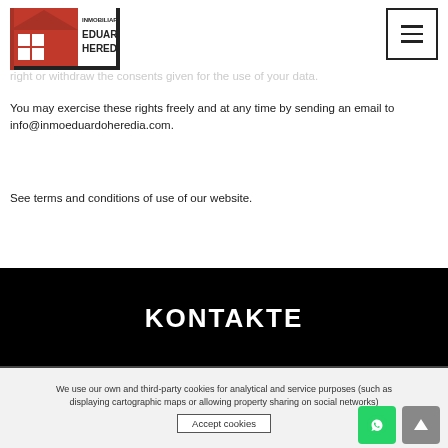[Figure (logo): Inmobiliaria Eduardo Heredia logo with red house icon and black text]
right or withdraw the consents given for the use of your data.
You may exercise these rights freely and at any time by sending an email to info@inmoeduardoheredia.com.
See terms and conditions of use of our website.
KONTAKTE
We use our own and third-party cookies for analytical and service purposes (such as displaying cartographic maps or allowing property sharing on social networks)
Accept cookies
Mere Information